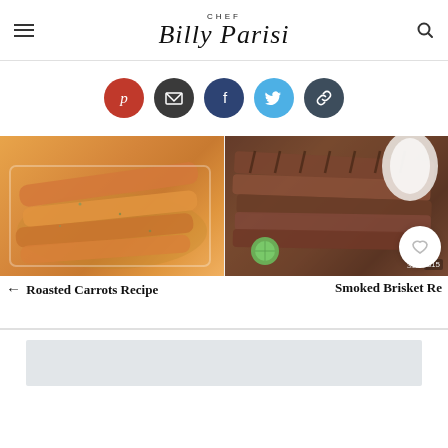CHEF Billy Parisi
[Figure (infographic): Social sharing icons row: Pinterest (red), Email (dark gray), Facebook (dark blue), Twitter (light blue), Link (dark slate)]
[Figure (photo): Roasted carrots in a glass baking dish]
[Figure (photo): Sliced smoked brisket with lime and sides]
← Roasted Carrots Recipe
Smoked Brisket Re